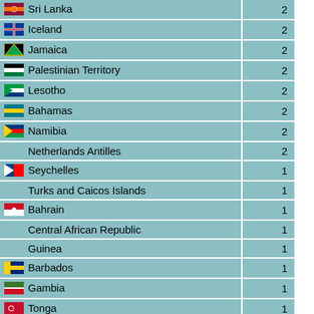| Country | Count |
| --- | --- |
| Sri Lanka | 2 |
| Iceland | 2 |
| Jamaica | 2 |
| Palestinian Territory | 2 |
| Lesotho | 2 |
| Bahamas | 2 |
| Namibia | 2 |
| Netherlands Antilles | 2 |
| Seychelles | 1 |
| Turks and Caicos Islands | 1 |
| Bahrain | 1 |
| Central African Republic | 1 |
| Guinea | 1 |
| Barbados | 1 |
| Gambia | 1 |
| Tonga | 1 |
| Dominica | 1 |
| French Guiana | 1 |
| Mauritania | 1 |
| Timor-Leste | 1 |
| Saint Lucia | 1 |